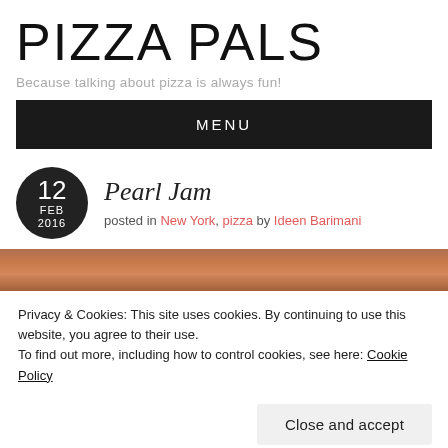PIZZA PALS
Because talking about pizza is always fun!
MENU
12 FEB 2016
Pearl Jam
posted in New York, pizza by Ideen Barimani
[Figure (photo): Pizza photo strip at top]
Privacy & Cookies: This site uses cookies. By continuing to use this website, you agree to their use.
To find out more, including how to control cookies, see here: Cookie Policy
Close and accept
[Figure (photo): Pizza photo strip at bottom]